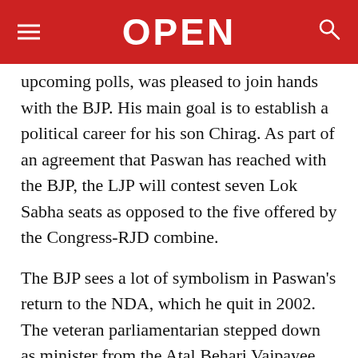OPEN
upcoming polls, was pleased to join hands with the BJP. His main goal is to establish a political career for his son Chirag. As part of an agreement that Paswan has reached with the BJP, the LJP will contest seven Lok Sabha seats as opposed to the five offered by the Congress-RJD combine.
The BJP sees a lot of symbolism in Paswan’s return to the NDA, which he quit in 2002. The veteran parliamentarian stepped down as minister from the Atal Behari Vajpayee Government in April 2002 alleging that the Narendra Modi government had failed to control the anti-Muslim conflagration